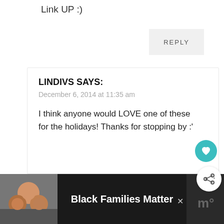Link UP :)
REPLY
LINDIVS SAYS:
December 6, 2014 at 11:35 am
I think anyone would LOVE one of these for the holidays! Thanks for stopping by :'
WHAT'S NEXT → Burlap Christmas G...
Black Families Matter